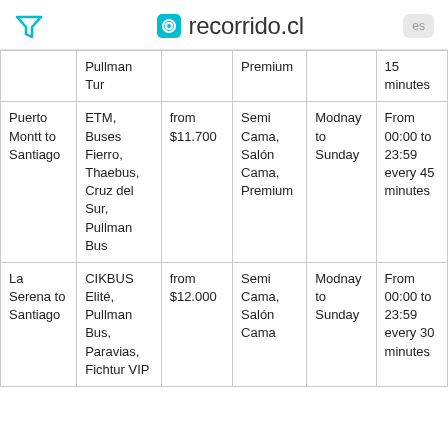recorrido.cl
| Route | Company | Price | Service | Days | Frequency |
| --- | --- | --- | --- | --- | --- |
|  | Pullman Tur |  | Premium |  | 15 minutes |
| Puerto Montt to Santiago | ETM, Buses Fierro, Thaebus, Cruz del Sur, Pullman Bus | from $11.700 | Semi Cama, Salón Cama, Premium | Modnay to Sunday | From 00:00 to 23:59 every 45 minutes |
| La Serena to Santiago | CIKBUS Elité, Pullman Bus, Paravias, Fichtur VIP | from $12.000 | Semi Cama, Salón Cama | Modnay to Sunday | From 00:00 to 23:59 every 30 minutes |